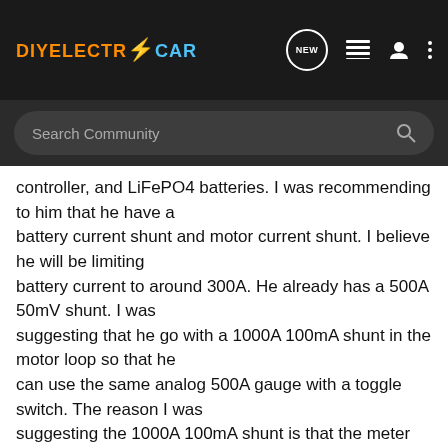DIYELECTRICCAR
controller, and LiFePO4 batteries. I was recommending to him that he have a battery current shunt and motor current shunt. I believe he will be limiting battery current to around 300A. He already has a 500A 50mV shunt. I was suggesting that he go with a 1000A 100mA shunt in the motor loop so that he can use the same analog 500A gauge with a toggle switch. The reason I was suggesting the 1000A 100mA shunt is that the meter should still read 500A at 500 motor amps but that the 1000A shunt can better handle the short spikes up into the 700A range where as the 500A shunt might not do